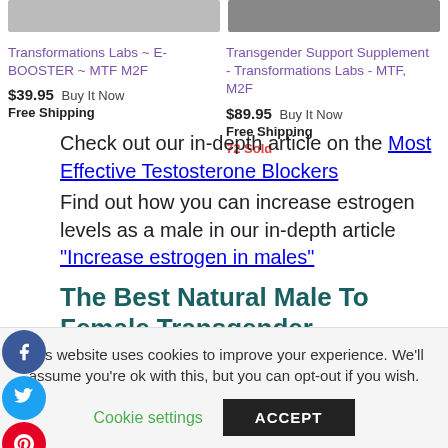[Figure (screenshot): Top partial product image strip showing two product images partially visible at top of page]
Transformations Labs ~ E-BOOSTER ~ MTF M2F
$39.95 Buy It Now
Free Shipping
Transgender Support Supplement - Transformations Labs - MTF, M2F
$89.95 Buy It Now
Free Shipping
72 Sold
Check out our in-depth article on the Most Effective Testosterone Blockers
Find out how you can increase estrogen levels as a male in our in-depth article “Increase estrogen in males”
The Best Natural Male To Female Transgender Hormones (My
This website uses cookies to improve your experience. We’ll assume you’re ok with this, but you can opt-out if you wish.
Cookie settings  ACCEPT